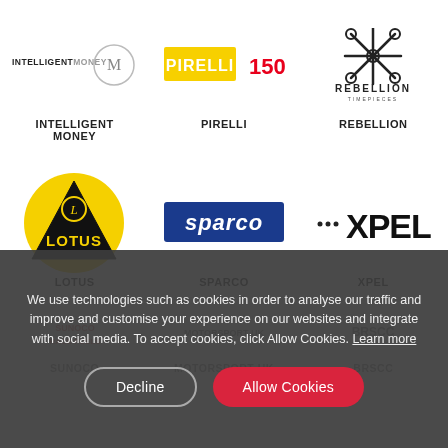[Figure (logo): Intelligent Money logo]
INTELLIGENT MONEY
[Figure (logo): Pirelli 150 logo]
PIRELLI
[Figure (logo): Rebellion Timepieces logo]
REBELLION
[Figure (logo): Lotus logo]
LOTUS
[Figure (logo): Sparco logo]
SPARCO
[Figure (logo): XPEL logo]
XPEL
We use technologies such as cookies in order to analyse our traffic and improve and customise your experience on our websites and integrate with social media. To accept cookies, click Allow Cookies. Learn more
Decline
Allow Cookies